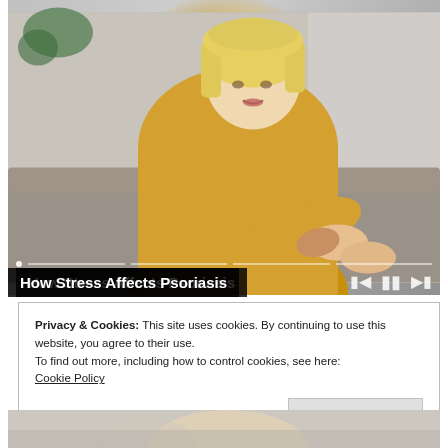[Figure (photo): Woman in yellow sweater scratching her elbow, sitting on a couch. Video player with progress bar and playback controls visible.]
How Stress Affects Psoriasis
Privacy & Cookies: This site uses cookies. By continuing to use this website, you agree to their use.
To find out more, including how to control cookies, see here:
Cookie Policy
Close and accept
[Figure (photo): Partial view of another image at the bottom of the page, showing a person in a light-colored setting.]